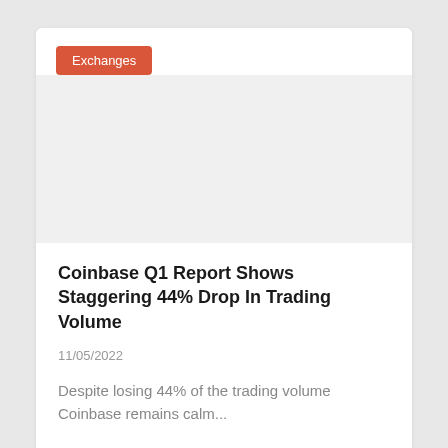Exchanges
[Figure (photo): Image placeholder area for article thumbnail]
Coinbase Q1 Report Shows Staggering 44% Drop In Trading Volume
11/05/2022
Despite losing 44% of the trading volume Coinbase remains calm...